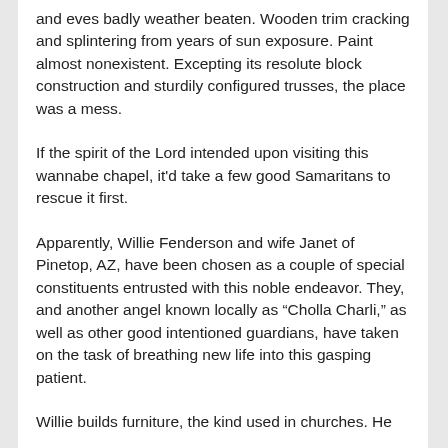and eves badly weather beaten. Wooden trim cracking and splintering from years of sun exposure. Paint almost nonexistent. Excepting its resolute block construction and sturdily configured trusses, the place was a mess.
If the spirit of the Lord intended upon visiting this wannabe chapel, it’d take a few good Samaritans to rescue it first.
Apparently, Willie Fenderson and wife Janet of Pinetop, AZ, have been chosen as a couple of special constituents entrusted with this noble endeavor. They, and another angel known locally as “Cholla Charli,” as well as other good intentioned guardians, have taken on the task of breathing new life into this gasping patient.
Willie builds furniture, the kind used in churches. He